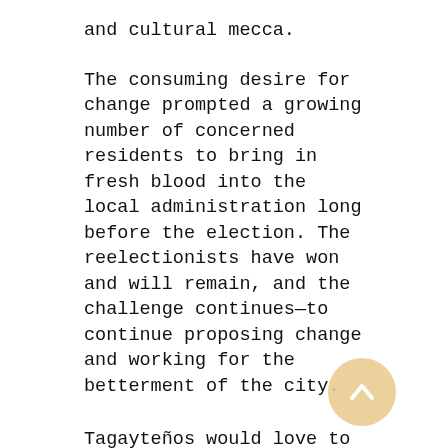and cultural mecca.
The consuming desire for change prompted a growing number of concerned residents to bring in fresh blood into the local administration long before the election. The reelectionists have won and will remain, and the challenge continues—to continue proposing change and working for the betterment of the city.
Tagayteños would love to see this lovely city overlooking the world-famous Taal Volcano move forward. Because, blessed with an inviting and cool weather all year round and being just an hour's drive from Metro Manila, Tagaytay can really be transformed into a prime tourist destination.
Before the election we held forums on responsible voting for the parents and concerned communities